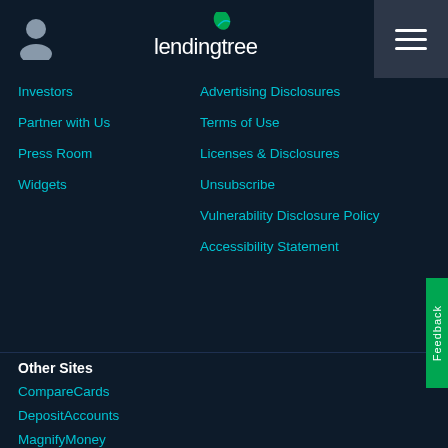LendingTree navigation header with user icon, logo, and hamburger menu
Investors
Advertising Disclosures
Partner with Us
Terms of Use
Press Room
Licenses & Disclosures
Widgets
Unsubscribe
Vulnerability Disclosure Policy
Accessibility Statement
Other Sites
CompareCards
DepositAccounts
MagnifyMoney
Ovation Credit
QuoteWizard
SimpleTuition
SnapCap